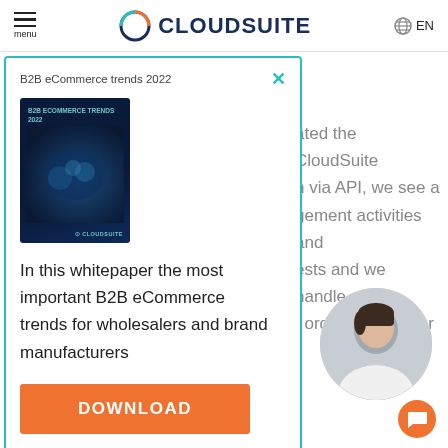CLOUDSUITE | menu | EN
[Figure (screenshot): CloudSuite website screenshot with popup modal showing B2B eCommerce trends 2022 whitepaper download offer]
B2B eCommerce trends 2022
In this whitepaper the most important B2B eCommerce trends for wholesalers and brand manufacturers
DOWNLOAD
ated the CloudSuite n via API, we see a gement activities and ests and we handle a f orders with fewer
ADVION